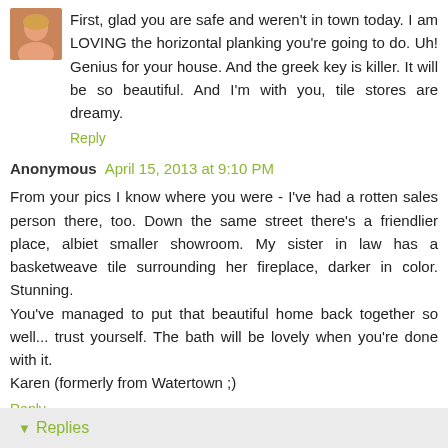[Figure (photo): Small avatar/profile photo of a woman with blonde hair]
First, glad you are safe and weren't in town today. I am LOVING the horizontal planking you're going to do. Uh! Genius for your house. And the greek key is killer. It will be so beautiful. And I'm with you, tile stores are dreamy.
Reply
Anonymous April 15, 2013 at 9:10 PM
From your pics I know where you were - I've had a rotten sales person there, too. Down the same street there's a friendlier place, albiet smaller showroom. My sister in law has a basketweave tile surrounding her fireplace, darker in color. Stunning.
You've managed to put that beautiful home back together so well... trust yourself. The bath will be lovely when you're done with it.
Karen (formerly from Watertown ;)
Reply
Replies